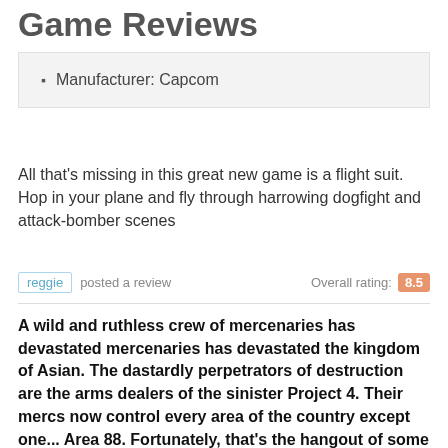Game Reviews
Manufacturer: Capcom
All that's missing in this great new game is a flight suit. Hop in your plane and fly through harrowing dogfight and attack-bomber scenes
reggie posted a review   Overall rating: 8.5
A wild and ruthless crew of mercenaries has devastated mercenaries has devastated the kingdom of Asian. The dastardly perpetrators of destruction are the arms dealers of the sinister Project 4. Their mercs now control every area of the country except one... Area 88. Fortunately, that's the hangout of some of the finest pilots in the world: the UN Squadron.